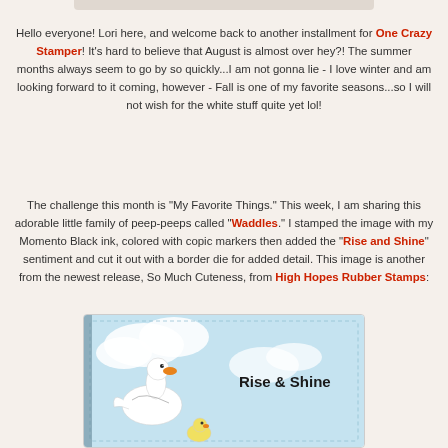Hello everyone! Lori here, and welcome back to another installment for One Crazy Stamper! It's hard to believe that August is almost over hey?! The summer months always seem to go by so quickly...I am not gonna lie - I love winter and am looking forward to it coming, however - Fall is one of my favorite seasons...so I will not wish for the white stuff quite yet lol!
The challenge this month is "My Favorite Things." This week, I am sharing this adorable little family of peep-peeps called "Waddles." I stamped the image with my Momento Black ink, colored with copic markers then added the "Rise and Shine" sentiment and cut it out with a border die for added detail. This image is another from the newest release, So Much Cuteness, from High Hopes Rubber Stamps:
[Figure (photo): Stamped card image showing a white duck/goose with an orange beak and a chick, on a light blue background with the text 'Rise & Shine' in bold black letters, decorative dashed border.]